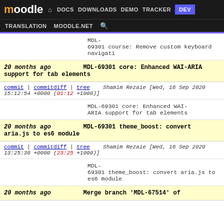Moodle | DOCS | DOWNLOADS | DEMO | TRACKER | DEV | TRANSLATION | MOODLE.NET
MDL-69301 course: Remove custom keyboard navigation
20 months ago   MDL-69301 core: Enhanced WAI-ARIA support for tab elements
commit | commitdiff | tree   Shamim Rezaie [Wed, 16 Sep 2020 15:12:54 +0000 (01:12 +1000)]
MDL-69301 core: Enhanced WAI-ARIA support for tab elements
20 months ago   MDL-69301 theme_boost: convert aria.js to es6 module
commit | commitdiff | tree   Shamim Rezaie [Wed, 16 Sep 2020 13:25:36 +0000 (23:25 +1000)]
MDL-69301 theme_boost: convert aria.js to es6 module
20 months ago   Merge branch 'MDL-67514' of